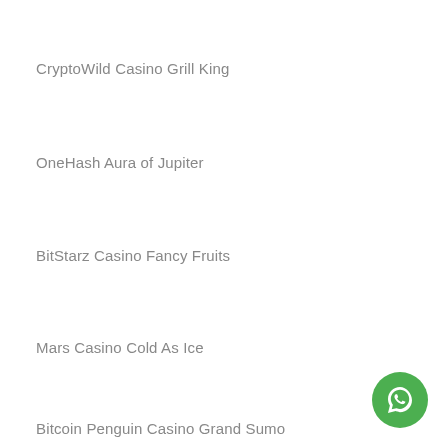CryptoWild Casino Grill King
OneHash Aura of Jupiter
BitStarz Casino Fancy Fruits
Mars Casino Cold As Ice
Bitcoin Penguin Casino Grand Sumo
CryptoWild Casino EggOMatic
[Figure (illustration): WhatsApp contact button, green circle with white chat bubble icon]